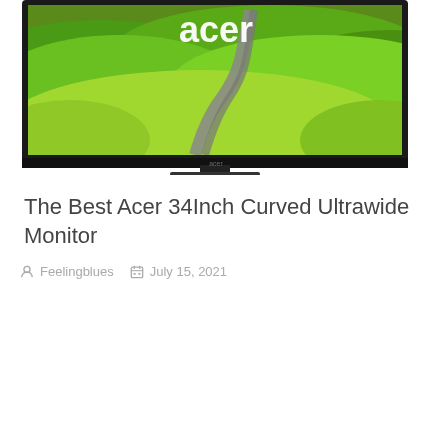[Figure (photo): An Acer monitor displaying a green landscape with winding road, featuring the Acer logo prominently on screen. The monitor has a black bezel and stand.]
The Best Acer 34Inch Curved Ultrawide Monitor
Feelingblues   July 15, 2021